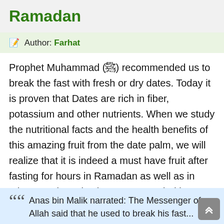Ramadan
✎ Author: Farhat
Prophet Muhammad (ﷺ) recommended us to break the fast with fresh or dry dates. Today it is proven that Dates are rich in fiber, potassium and other nutrients. When we study the nutritional facts and the health benefits of this amazing fruit from the date palm, we will realize that it is indeed a must have fruit after fasting for hours in Ramadan as well as in other months. It is also recommended in a hadith to eat dates on daily basis at morning.
❝ Anas bin Malik narrated: The Messenger of Allah said that he used to break his fast...